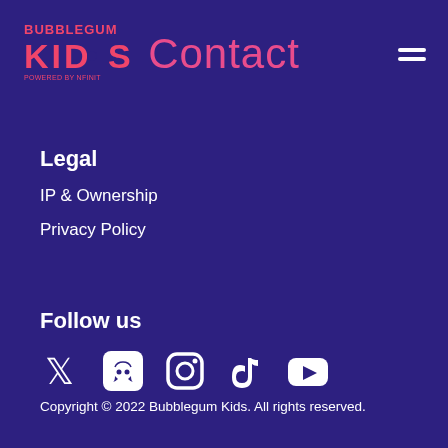[Figure (logo): Bubblegum Kids logo in pink/red text]
Contact
Legal
IP & Ownership
Privacy Policy
Follow us
[Figure (illustration): Social media icons: Twitter, Discord, Instagram, TikTok, YouTube]
Copyright © 2022 Bubblegum Kids. All rights reserved.